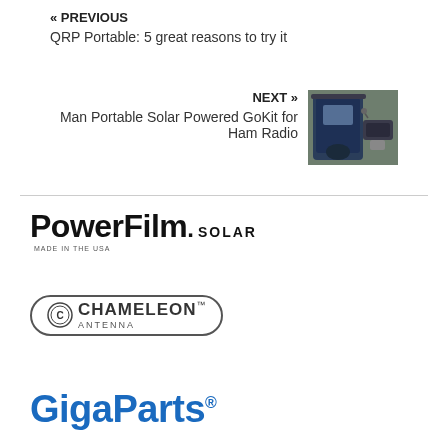« PREVIOUS
QRP Portable: 5 great reasons to try it
NEXT »
Man Portable Solar Powered GoKit for Ham Radio
[Figure (photo): A backpack with solar panel equipment on grass]
[Figure (logo): PowerFilm Solar logo - Made in the USA]
[Figure (logo): Chameleon Antenna logo with oval border]
[Figure (logo): GigaParts logo in blue]